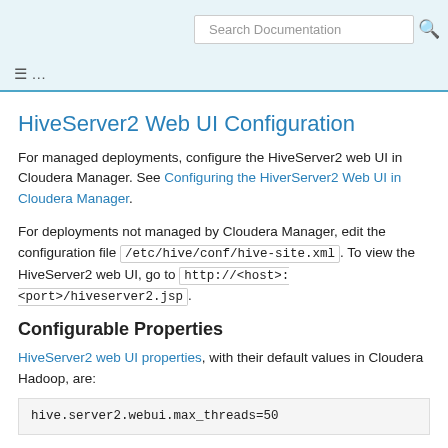Search Documentation
≡ ...
HiveServer2 Web UI Configuration
For managed deployments, configure the HiveServer2 web UI in Cloudera Manager. See Configuring the HiverServer2 Web UI in Cloudera Manager.
For deployments not managed by Cloudera Manager, edit the configuration file /etc/hive/conf/hive-site.xml. To view the HiveServer2 web UI, go to http://<host>:<port>/hiveserver2.jsp.
Configurable Properties
HiveServer2 web UI properties, with their default values in Cloudera Hadoop, are:
hive.server2.webui.max_threads=50